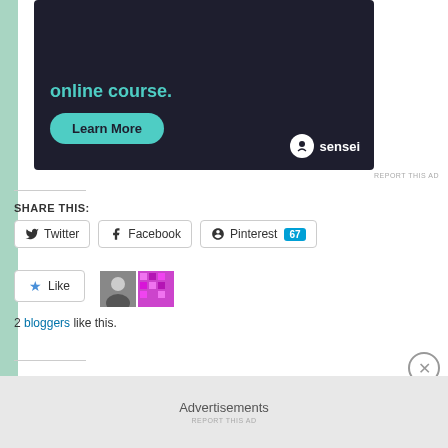[Figure (screenshot): Advertisement banner with dark background showing 'online course.' text in teal, a 'Learn More' teal button, and Sensei logo in bottom right]
REPORT THIS AD
SHARE THIS:
Twitter  Facebook  Pinterest 67
Like  [avatar images]  2 bloggers like this.
Advertisements
REPORT THIS AD